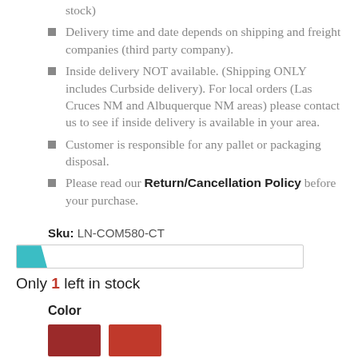stock)
Delivery time and date depends on shipping and freight companies (third party company).
Inside delivery NOT available. (Shipping ONLY includes Curbside delivery). For local orders (Las Cruces NM and Albuquerque NM areas) please contact us to see if inside delivery is available in your area.
Customer is responsible for any pallet or packaging disposal.
Please read our Return/Cancellation Policy before your purchase.
Sku: LN-COM580-CT
Only 1 left in stock
Color